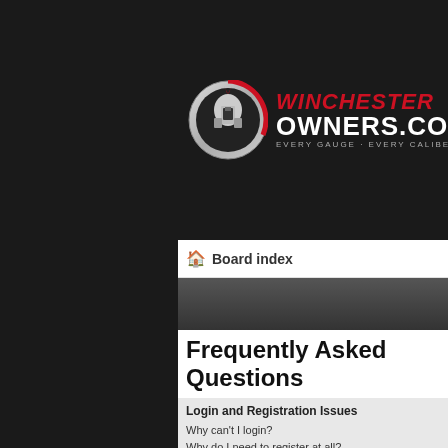[Figure (logo): WinchesterOwners.com website logo with spartan helmet icon and red/white text on black background]
🏠 Board index
[Figure (screenshot): Dark gray navigation/tab bar]
Frequently Asked Questions
Login and Registration Issues
Why can't I login?
Why do I need to register at all?
Why do I get logged off automatically?
How do I prevent my username appearing in the online user listings?
I've lost my password!
I registered but cannot login!
I registered in the past but cannot login any more?!
What is COPPA?
Why can't I register?
What does the "Delete all board cookies" do?
User Preferences and settings